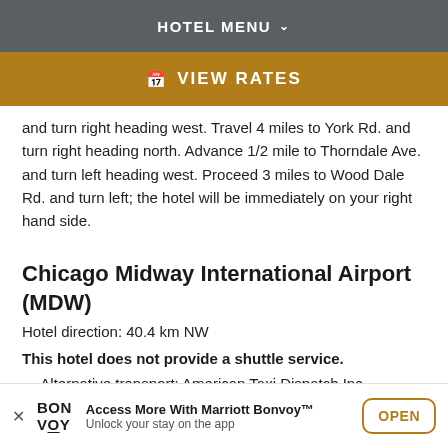HOTEL MENU
VIEW RATES
and turn right heading west. Travel 4 miles to York Rd. and turn right heading north. Advance 1/2 mile to Thorndale Ave. and turn left heading west. Proceed 3 miles to Wood Dale Rd. and turn left; the hotel will be immediately on your right hand side.
Chicago Midway International Airport (MDW)
Hotel direction: 40.4 km NW
This hotel does not provide a shuttle service.
Alternative transport: American Taxi Dispatch Inc.,
Access More With Marriott Bonvoy™ Unlock your stay on the app